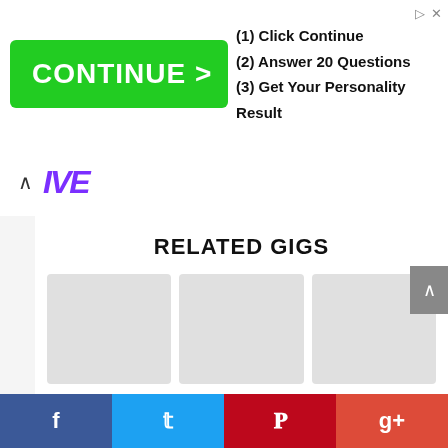[Figure (screenshot): Advertisement banner with green CONTINUE > button and text: (1) Click Continue, (2) Answer 20 Questions, (3) Get Your Personality Result]
[Figure (logo): Navigation bar with up chevron and partially visible purple italic logo]
RELATED GIGS
[Figure (other): Gig card image placeholder 1]
I will do discord nft, discord promotion, nft server, nft promotion
[Figure (other): Gig card image placeholder 2]
I will effectively promote your onlyfans page to massive audiences
[Figure (other): Gig card image placeholder 3]
I will do organic twitch promotion for twitch livestreaming channel
[Figure (screenshot): Social sharing bar with Facebook, Twitter, Pinterest, and Google+ buttons]